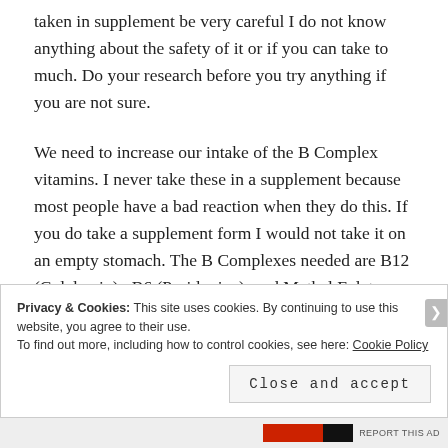taken in supplement be very careful I do not know anything about the safety of it or if you can take to much. Do your research before you try anything if you are not sure.
We need to increase our intake of the B Complex vitamins. I never take these in a supplement because most people have a bad reaction when they do this. If you do take a supplement form I would not take it on an empty stomach. The B Complexes needed are B12 (Colalamin) , B6 (Pyridoxine), and Methal Folate. These
Privacy & Cookies: This site uses cookies. By continuing to use this website, you agree to their use.
To find out more, including how to control cookies, see here: Cookie Policy
Close and accept